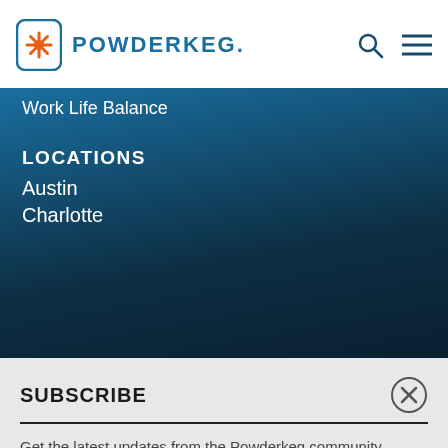POWDERKEG.
Work Life Balance
LOCATIONS
Austin
Charlotte
SUBSCRIBE
Get the latest updates from the Powderkeg community, including event invites and stories from tech entrepreneurs getting it done!
Enter Your Email
SIGN UP